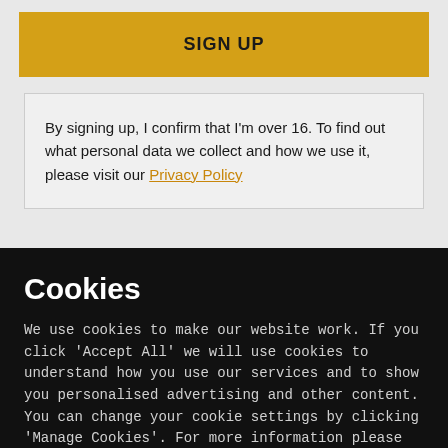SIGN UP
By signing up, I confirm that I'm over 16. To find out what personal data we collect and how we use it, please visit our Privacy Policy
Cookies
We use cookies to make our website work. If you click 'Accept All' we will use cookies to understand how you use our services and to show you personalised advertising and other content. You can change your cookie settings by clicking 'Manage Cookies'. For more information please see our cookie policy